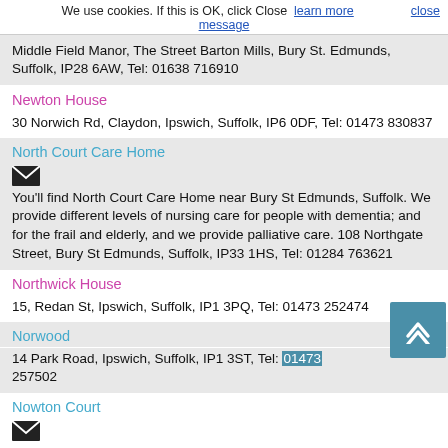We use cookies. If this is OK, click Close  learn more message  close
Middle Field Manor, The Street Barton Mills, Bury St. Edmunds, Suffolk, IP28 6AW, Tel: 01638 716910
Newton House
30 Norwich Rd, Claydon, Ipswich, Suffolk, IP6 0DF, Tel: 01473 830837
North Court Care Home
You'll find North Court Care Home near Bury St Edmunds, Suffolk. We provide different levels of nursing care for people with dementia; and for the frail and elderly, and we provide palliative care. 108 Northgate Street, Bury St Edmunds, Suffolk, IP33 1HS, Tel: 01284 763621
Northwick House
15, Redan St, Ipswich, Suffolk, IP1 3PQ, Tel: 01473 252474
Norwood
14 Park Road, Ipswich, Suffolk, IP1 3ST, Tel: 01473 257502
Nowton Court
Nowton Road, Nowton, Bury St Edmunds, Suffolk, IP29 5LU, Tel: 01284 756610